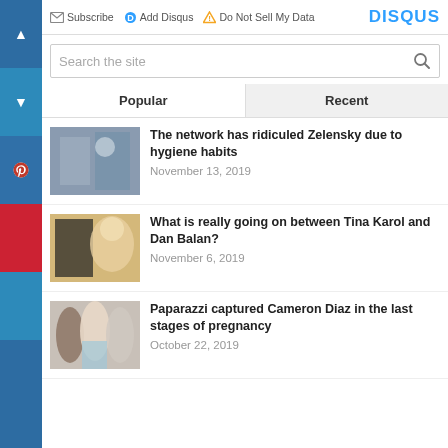Subscribe  Add Disqus  Do Not Sell My Data  DISQUS
Search the site
Popular  Recent
The network has ridiculed Zelensky due to hygiene habits
November 13, 2019
What is really going on between Tina Karol and Dan Balan?
November 6, 2019
Paparazzi captured Cameron Diaz in the last stages of pregnancy
October 22, 2019